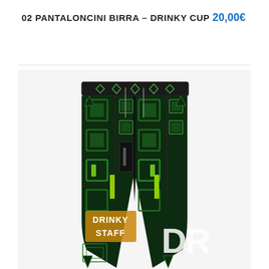02 PANTALONCINI BIRRA – DRINKY CUP
20,00€
[Figure (photo): Product photo of green and black patterned basketball shorts with tribal/geometric print. The shorts feature a DRINKY STAFF text on the left leg in yellow/orange letters and large 'DR' text on the right leg in white. The pattern is a dark green tribal maze-like geometric print on black background with lime green accents.]